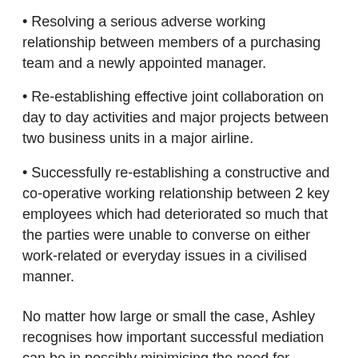• Resolving a serious adverse working relationship between members of a purchasing team and a newly appointed manager.
• Re-establishing effective joint collaboration on day to day activities and major projects between two business units in a major airline.
• Successfully re-establishing a constructive and co-operative working relationship between 2 key employees which had deteriorated so much that the parties were unable to converse on either work-related or everyday issues in a civilised manner.
No matter how large or small the case, Ashley recognises how important successful mediation can be in possibly minimising the need for litigation and consequently reducing costs.